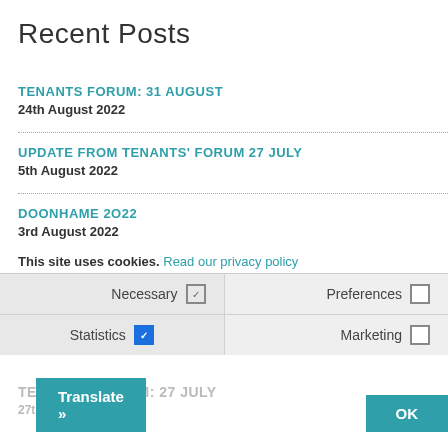Recent Posts
TENANTS FORUM: 31 AUGUST
24th August 2022
UPDATE FROM TENANTS' FORUM 27 JULY
5th August 2022
DOONHAME 2022
3rd August 2022
This site uses cookies. Read our privacy policy
Necessary [checked] Preferences [unchecked] Statistics [checked] Marketing [unchecked]
28th July 2022
TENANTS' FORUM: 27 JULY
Translate »
OK